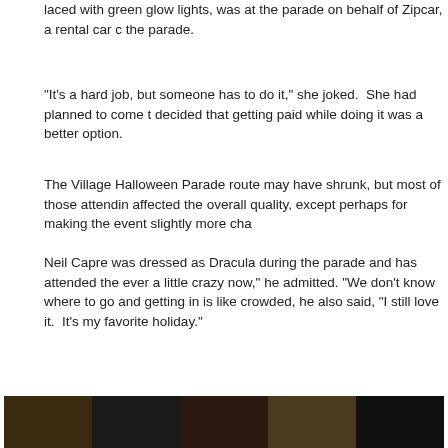laced with green glow lights, was at the parade on behalf of Zipcar, a rental car c… the parade.
“It’s a hard job, but someone has to do it,” she joked.  She had planned to come t… decided that getting paid while doing it was a better option.
The Village Halloween Parade route may have shrunk, but most of those attendin… affected the overall quality, except perhaps for making the event slightly more cha…
Neil Capre was dressed as Dracula during the parade and has attended the ever… a little crazy now,” he admitted. “We don’t know where to go and getting in is like… crowded, he also said, “I still love it.  It’s my favorite holiday.”
[Figure (photo): Row of five thumbnail photos from the Halloween parade, showing costumed revelers in dark/warm-toned lighting.]